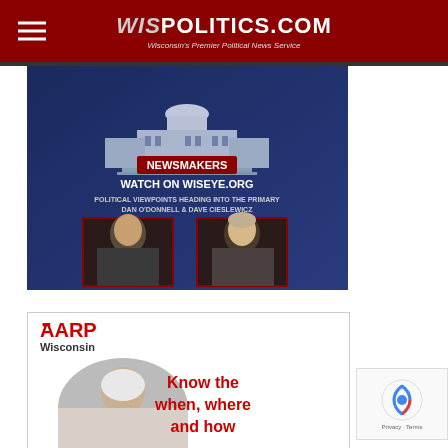WISPOLITICS.COM — Wisconsin's Premier Political News Service
[Figure (screenshot): WisEye Newsmakers promotional image with dark blue background showing the Wisconsin State Capitol building logo, text 'WATCH ON WISEYE.ORG', 'POLITICAL VIEWPOINTS HEADING INTO THE PRIMARY', 'DAN O'DONNELL & DAVE CIESLEWICZ', and two men's headshots in red-bordered frames]
[Figure (screenshot): AARP Wisconsin advertisement with logo showing 'Know the when, where and how' text in red, with a photo of an elderly woman]